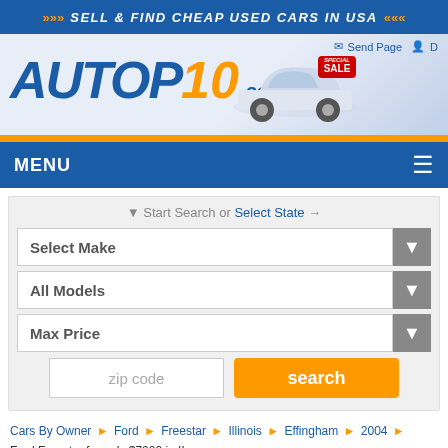>>> SELL & FIND CHEAP USED CARS IN USA <<<
[Figure (logo): AUTOP10.com logo with car image and SALE tag]
MENU
Start Search or Select State
Select Make
All Models
Max Price
zip code  search
Cars By Owner ▶ Ford ▶ Freestar ▶ Illinois ▶ Effingham ▶ 2004 ▶
Ford Freestar for only $7000 in IL
Only $7,000  +0% like this deal (0 votes)
Used Ford Freestar '04 fo